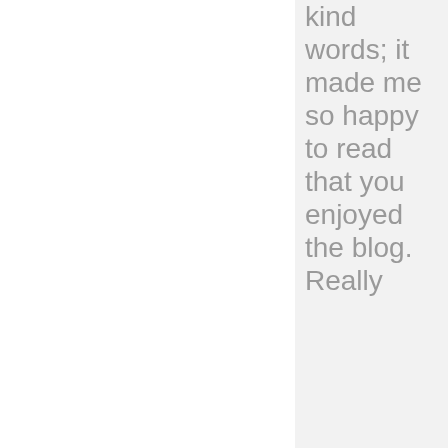kind words; it made me so happy to read that you enjoyed the blog. Really